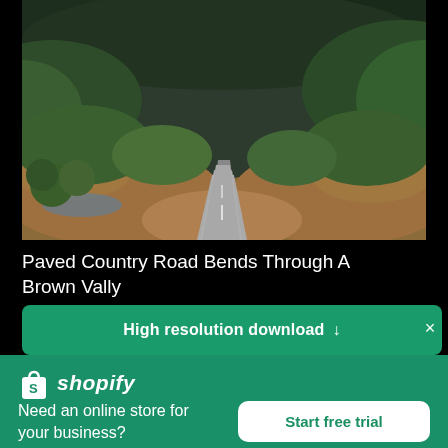[Figure (photo): Aerial view of a paved country road winding through a brown valley with green forested hills]
Paved Country Road Bends Through A Brown Vally
High resolution download ↓
[Figure (logo): Shopify logo with shopping bag icon and italic shopify text]
Need an online store for your business?
Start free trial